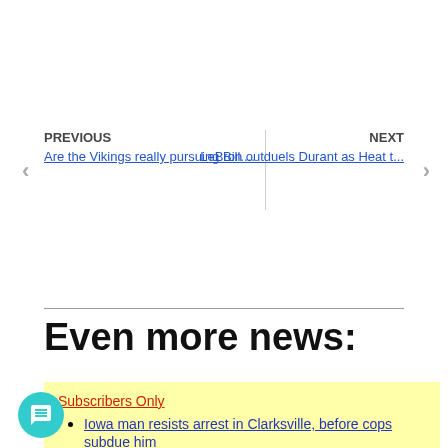PREVIOUS
Are the Vikings really pursuing Bill....
NEXT
LeBron outduels Durant as Heat t...
Even more news:
Subscribers Only
Iowa man resists arrest in Clarksville, before cops subdue him
Convicted Northern Iowa murderer dies in prison
Iowa police say man had abducted kids in trunk of his black Lexus – then say there was no threat